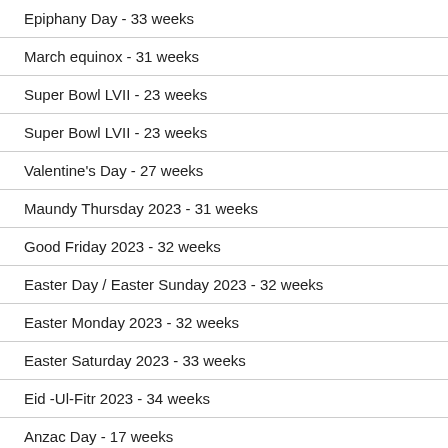Epiphany Day - 33 weeks
March equinox - 31 weeks
Super Bowl LVII - 23 weeks
Super Bowl LVII - 23 weeks
Valentine's Day - 27 weeks
Maundy Thursday 2023 - 31 weeks
Good Friday 2023 - 32 weeks
Easter Day / Easter Sunday 2023 - 32 weeks
Easter Monday 2023 - 32 weeks
Easter Saturday 2023 - 33 weeks
Eid -Ul-Fitr 2023 - 34 weeks
Anzac Day - 17 weeks
Labour Day / May Day - 16 weeks